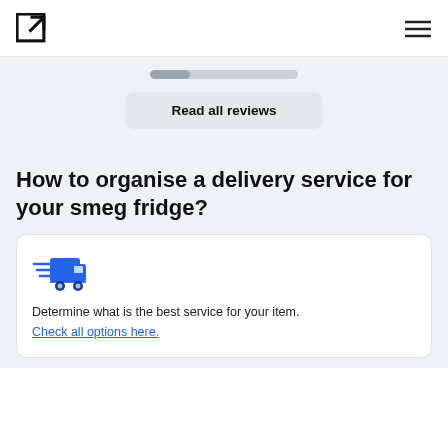[Logo icon] [Hamburger menu]
[Figure (other): A horizontal progress/scroll bar indicator, partially filled on the left side]
Read all reviews
How to organise a delivery service for your smeg fridge?
[Figure (illustration): Blue delivery truck icon with speed lines]
Determine what is the best service for your item. Check all options here.